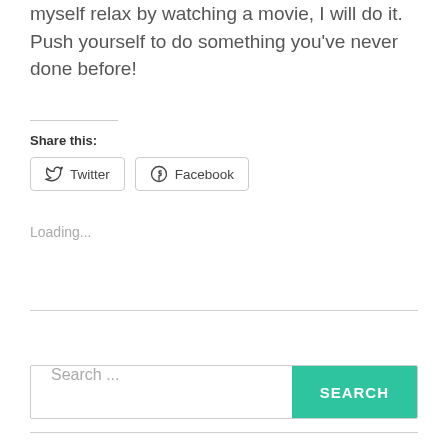myself relax by watching a movie, I will do it. Push yourself to do something you've never done before!
Share this:
[Figure (other): Twitter and Facebook share buttons]
Loading...
[Figure (other): Search bar with search input field and SEARCH button]